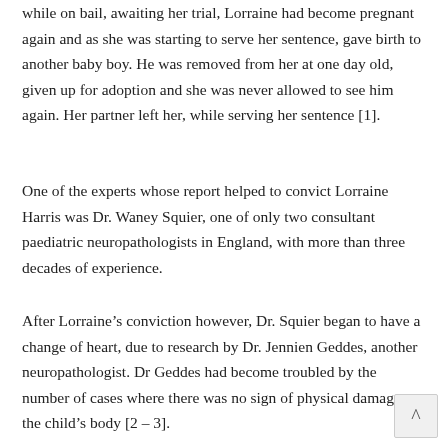while on bail, awaiting her trial, Lorraine had become pregnant again and as she was starting to serve her sentence, gave birth to another baby boy. He was removed from her at one day old, given up for adoption and she was never allowed to see him again. Her partner left her, while serving her sentence [1].
One of the experts whose report helped to convict Lorraine Harris was Dr. Waney Squier, one of only two consultant paediatric neuropathologists in England, with more than three decades of experience.
After Lorraine’s conviction however, Dr. Squier began to have a change of heart, due to research by Dr. Jennien Geddes, another neuropathologist. Dr Geddes had become troubled by the number of cases where there was no sign of physical damage to the child’s body [2 – 3].